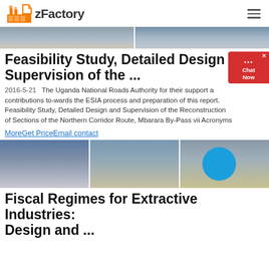zFactory
[Figure (photo): Horizontal strip of two construction/industrial site photos showing earthworks, machinery, and industrial equipment]
Feasibility Study, Detailed Design and Supervision of the ...
2016-5-21   The Uganda National Roads Authority for their support and contributions to-wards the ESIA process and preparation of this report. Feasibility Study, Detailed Design and Supervision of the Reconstruction of Sections of the Northern Corridor Route, Mbarara By-Pass vii Acronyms
MoreGet PriceEmail contact
[Figure (photo): Horizontal strip of three industrial/quarry site photos showing large industrial structures, conveyors, and a sandy quarry site]
Fiscal Regimes for Extractive Industries: Design and ...